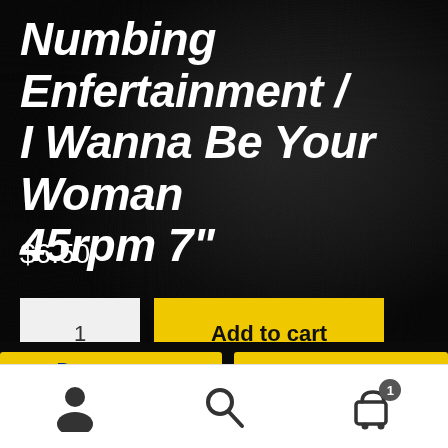Numbing Enfertainment / I Wanna Be Your Woman 45rpm 7"
$6.50
1
Add to cart
User icon | Search icon | Cart icon with badge 1